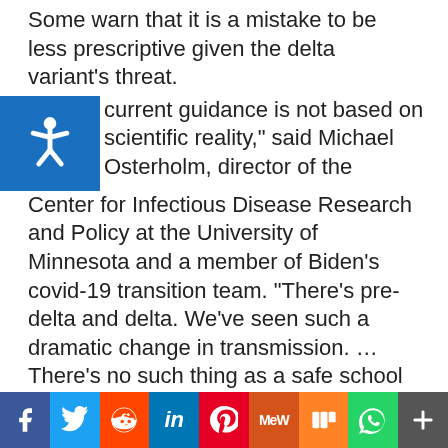Some warn that it is a mistake to be less prescriptive given the delta variant's threat.
“current guidance is not based on scientific reality,” said Michael Osterholm, director of the Center for Infectious Disease Research and Policy at the University of Minnesota and a member of Biden’s covid-19 transition team. “There’s pre-delta and delta. We’ve seen such a dramatic change in transmission. ... There’s no such thing as a safe school today with covid. There are safer schools, not safe.”
Administration officials and many school leaders strongly disagree.
[Figure (infographic): Social media share buttons bar at bottom: Facebook (blue), Twitter (light blue), Reddit (orange-red), LinkedIn (dark blue), Pinterest (red), MeWe (dark orange), Mix (orange), WhatsApp (green), More (gray)]